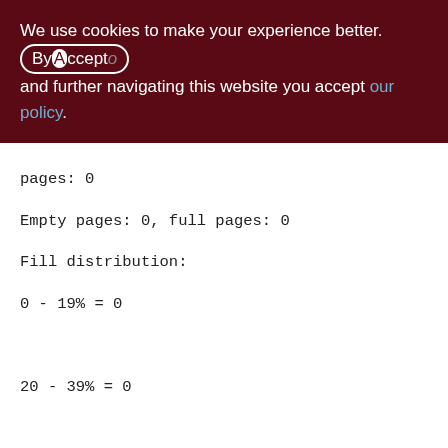We use cookies to make your experience better. By Accepting and further navigating this website you accept our policy.
pages: 0
Empty pages: 0, full pages: 0
Fill distribution:
0 - 19% = 0
20 - 39% = 0
40 - 59% = 0
60 - 79% = 0
80 - 99% = 0

Index MON_LOG_DTS (4)
Root page: 367, depth: 1, leaf buckets: 1, nodes: 0
Average node length: 0.00, total dup: 0,